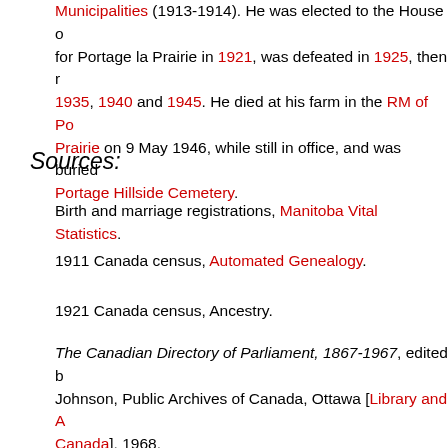Municipalities (1913-1914). He was elected to the House of Commons for Portage la Prairie in 1921, was defeated in 1925, then re-elected in 1935, 1940 and 1945. He died at his farm in the RM of Portage la Prairie on 9 May 1946, while still in office, and was buried at Portage Hillside Cemetery.
Sources:
Birth and marriage registrations, Manitoba Vital Statistics.
1911 Canada census, Automated Genealogy.
1921 Canada census, Ancestry.
The Canadian Directory of Parliament, 1867-1967, edited by J.K. Johnson, Public Archives of Canada, Ottawa [Library and Archives Canada], 1968.
"Harry Leader, Portage federal member, dies," Winnipeg Free Press, May 1946. [Manitoba Legislative Library, Biographical Scrapbooks]
"Harry Leader funeral rites on Monday," Winnipeg Free Press, May 1946, page 26.